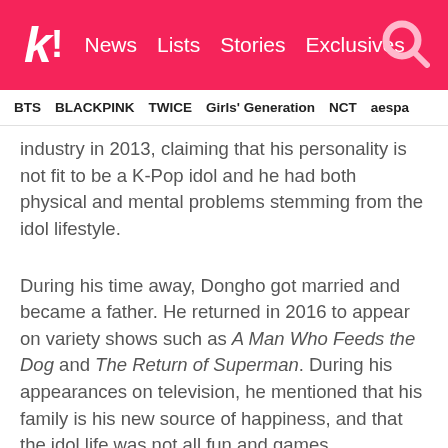k! News  Lists  Stories  Exclusives
BTS  BLACKPINK  TWICE  Girls' Generation  NCT  aespa
industry in 2013, claiming that his personality is not fit to be a K-Pop idol and he had both physical and mental problems stemming from the idol lifestyle.
During his time away, Dongho got married and became a father. He returned in 2016 to appear on variety shows such as A Man Who Feeds the Dog and The Return of Superman. During his appearances on television, he mentioned that his family is his new source of happiness, and that the idol life was not all fun and games.